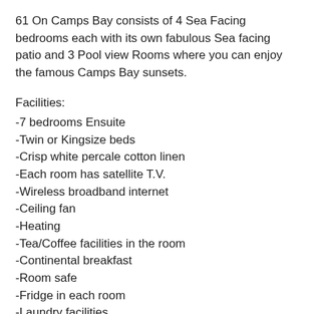61 On Camps Bay consists of 4 Sea Facing bedrooms each with its own fabulous Sea facing patio and 3 Pool view Rooms where you can enjoy the famous Camps Bay sunsets.
Facilities:
-7 bedrooms Ensuite
-Twin or Kingsize beds
-Crisp white percale cotton linen
-Each room has satellite T.V.
-Wireless broadband internet
-Ceiling fan
-Heating
-Tea/Coffee facilities in the room
-Continental breakfast
-Room safe
-Fridge in each room
-Laundry facilities
-Stoep in each bedroom (cut off)